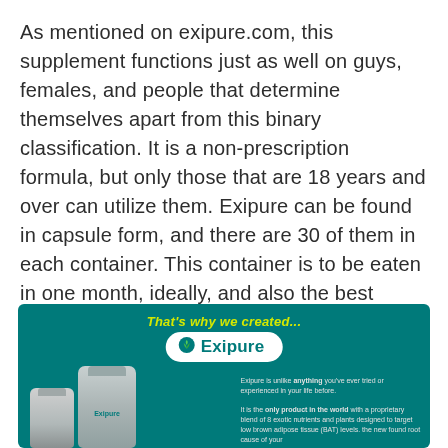As mentioned on exipure.com, this supplement functions just as well on guys, females, and people that determine themselves apart from this binary classification. It is a non-prescription formula, but only those that are 18 years and over can utilize them. Exipure can be found in capsule form, and there are 30 of them in each container. This container is to be eaten in one month, ideally, and also the best results are observed within two to three months.
[Figure (infographic): Exipure product advertisement banner with teal background. Shows 'That's why we created...' in yellow italic text, Exipure logo on white pill-shaped background, product bottles, and descriptive text about the product being unlike anything tried before, the only product in the world with a proprietary blend of 8 exotic nutrients and plants designed to target low brown adipose tissue (BAT) levels.]